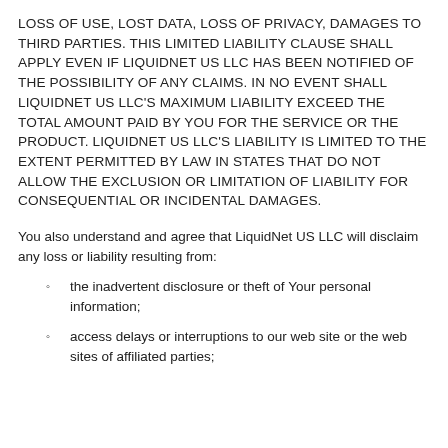LOSS OF USE, LOST DATA, LOSS OF PRIVACY, DAMAGES TO THIRD PARTIES. THIS LIMITED LIABILITY CLAUSE SHALL APPLY EVEN IF LiquidNet US LLC HAS BEEN NOTIFIED OF THE POSSIBILITY OF ANY CLAIMS. IN NO EVENT SHALL LiquidNet US LLC'S MAXIMUM LIABILITY EXCEED THE TOTAL AMOUNT PAID BY YOU FOR THE SERVICE OR THE PRODUCT. LiquidNet US LLC'S LIABILITY IS LIMITED TO THE EXTENT PERMITTED BY LAW IN STATES THAT DO NOT ALLOW THE EXCLUSION OR LIMITATION OF LIABILITY FOR CONSEQUENTIAL OR INCIDENTAL DAMAGES.
You also understand and agree that LiquidNet US LLC will disclaim any loss or liability resulting from:
the inadvertent disclosure or theft of Your personal information;
access delays or interruptions to our web site or the web sites of affiliated parties;